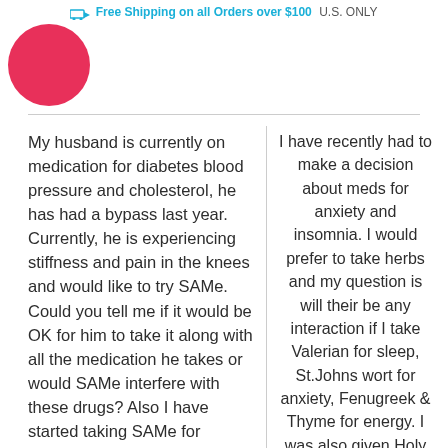Free Shipping on all Orders over $100 U.S. ONLY
[Figure (logo): Pink circle logo, partially visible at top left]
My husband is currently on medication for diabetes blood pressure and cholesterol, he has had a bypass last year. Currently, he is experiencing stiffness and pain in the knees and would like to try SAMe. Could you tell me if it would be OK for him to take it along with all the medication he takes or would SAMe interfere with these drugs? Also I have started taking SAMe for osteoarthritis. Is
I have recently had to make a decision about meds for anxiety and insomnia. I would prefer to take herbs and my question is will their be any interaction if I take Valerian for sleep, St.Johns wort for anxiety, Fenugreek & Thyme for energy. I was also given Holy Basil, Liquid green tea